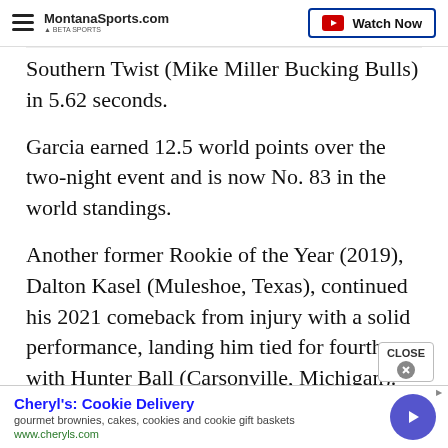MontanaSports.com | Watch Now
Southern Twist (Mike Miller Bucking Bulls) in 5.62 seconds.
Garcia earned 12.5 world points over the two-night event and is now No. 83 in the world standings.
Another former Rookie of the Year (2019), Dalton Kasel (Muleshoe, Texas), continued his 2021 comeback from injury with a solid performance, landing him tied for fourth with Hunter Ball (Carsonville, Michigan).
[Figure (other): Advertisement banner: Cheryl's Cookie Delivery - gourmet brownies, cakes, cookies and cookie gift baskets - www.cheryls.com]